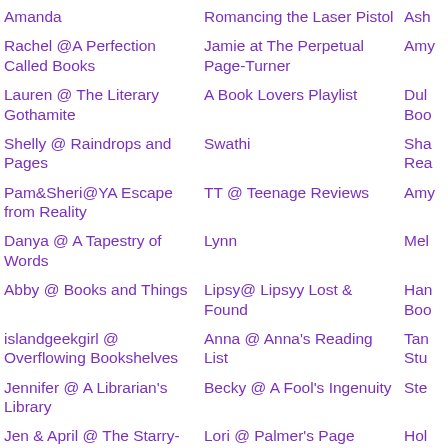Amanda
Romancing the Laser Pistol
Ash
Rachel @A Perfection Called Books
Jamie at The Perpetual Page-Turner
Amy
Lauren @ The Literary Gothamite
A Book Lovers Playlist
Dulo Boo
Shelly @ Raindrops and Pages
Swathi
Sha Rea
Pam&Sheri@YA Escape from Reality
TT @ Teenage Reviews
Amy
Danya @ A Tapestry of Words
Lynn
Mel
Abby @ Books and Things
Lipsy@ Lipsyy Lost & Found
Han Boo
islandgeekgirl @ Overflowing Bookshelves
Anna @ Anna's Reading List
Tan Stu
Jennifer @ A Librarian's Library
Becky @ A Fool's Ingenuity
Ste
Jen & April @ The Starry-Eyed Revue
Lori @ Palmer's Page Turners
Hol